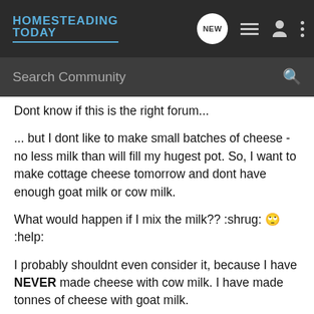HOMESTEADING TODAY
Search Community
Dont know if this is the right forum...
... but I dont like to make small batches of cheese - no less milk than will fill my hugest pot. So, I want to make cottage cheese tomorrow and dont have enough goat milk or cow milk.
What would happen if I mix the milk?? :shrug: 🙄 :help:
I probably shouldnt even consider it, because I have NEVER made cheese with cow milk. I have made tonnes of cheese with goat milk.
Also, is there anything wrong with feeding alfalfa pellets and whole oats to a milk cow? She loves it, and pushes the cattle cubes OUT of the feeder.